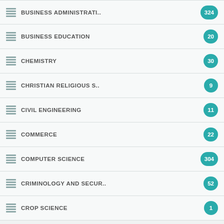BUSINESS ADMINISTRATI..
BUSINESS EDUCATION
CHEMISTRY
CHRISTIAN RELIGIOUS S..
CIVIL ENGINEERING
COMMERCE
COMPUTER SCIENCE
CRIMINOLOGY AND SECUR..
CROP SCIENCE